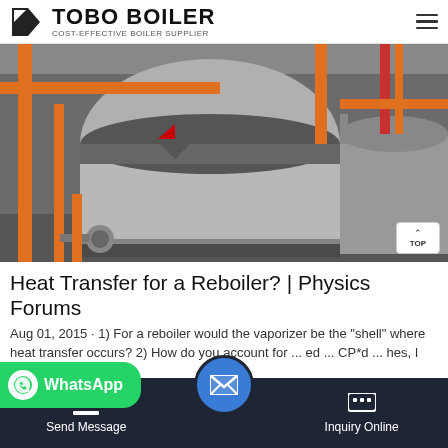TOBO BOILER — COST-EFFECTIVE BOILER SUPPLIER
[Figure (photo): Industrial boilers in a facility — large cylindrical stainless steel boilers with orange and red pipes, multiple units visible in a factory/plant room setting.]
Heat Transfer for a Reboiler? | Physics Forums
Aug 01, 2015 · 1) For a reboiler would the vaporizer be the "shell" where heat transfer occurs? 2) How do you account for ... ed ... CP*d ... hes, I wa...
Send Message   Inquiry Online